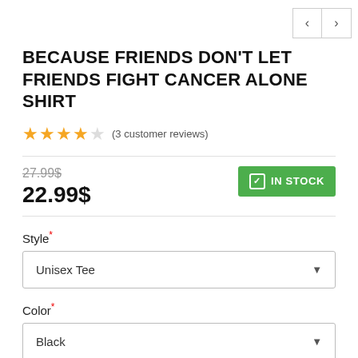BECAUSE FRIENDS DON'T LET FRIENDS FIGHT CANCER ALONE SHIRT
★★★★☆ (3 customer reviews)
27.99$
IN STOCK
22.99$
Style* Unisex Tee
Color* Black